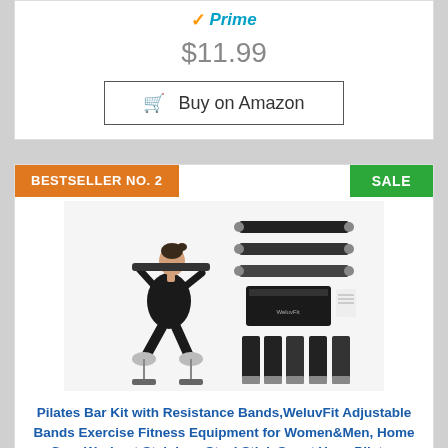[Figure (logo): Amazon Prime logo with orange checkmark and blue italic Prime text]
$11.99
🛒 Buy on Amazon
BESTSELLER NO. 2
SALE
[Figure (photo): Woman in black athletic wear doing a squat exercise with a pilates bar resistance band kit, alongside product components shown on the right]
Pilates Bar Kit with Resistance Bands,WeluvFit Adjustable Bands Exercise Fitness Equipment for Women&Men, Home Gym Workout Stainless Steel Stick Squat Yoga Pilates Flexbands Kit for Full Body Shaping